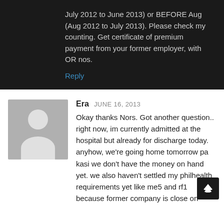July 2012 to June 2013) or BEFORE Aug (Aug 2012 to July 2013). Please check my counting. Get certificate of premium payment from your former employer, with OR nos.
Reply
[Figure (illustration): Generic user avatar silhouette on grey background]
Era JUNE 16, 2013
Okay thanks Nors. Got another question.. right now, im currently admitted at the hospital but already for discharge today. anyhow, we're going home tomorrow pa kasi we don't have the money on hand yet. we also haven't settled my philhealth requirements yet like me5 and rf1 because former company is close on